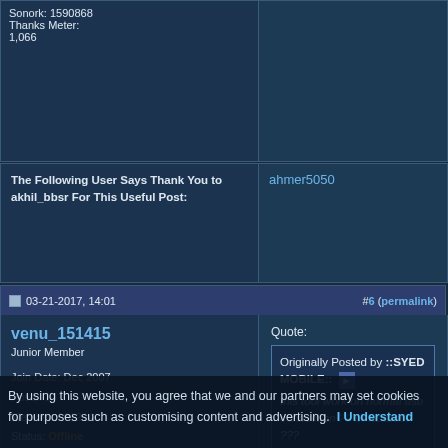Sonork: 1590868
Thanks Meter: 1,066
The Following User Says Thank You to akhil_bbsr For This Useful Post:
ahmer5050
03-21-2017, 14:01
#6 (permalink)
venu_151415
Junior Member
Join Date: Dec 2007
Posts: 13
Member: 661214
Status: Offline
Thanks Meter: 4
Quote:
Originally Posted by ::SYED MOBILE:: this tool work on normal usb connection ?? or fastboot ???
Check Picture Already Done In Fastboot Mode...!
The Following User Says Thank You to venu_151415 For This Useful Post:
ahmer5050
By using this website, you agree that we and our partners may set cookies for purposes such as customising content and advertising. I Understand